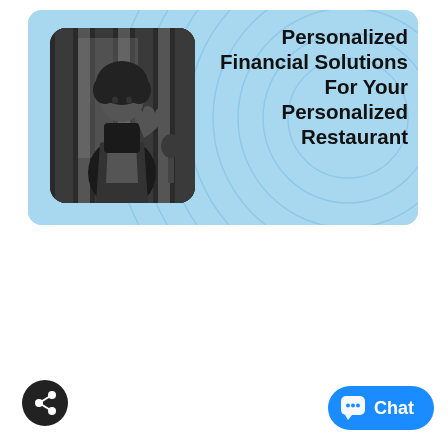[Figure (infographic): Light blue banner with ripple/wave pattern. Left side shows a black-and-white photo of a woman in a restaurant wearing an apron. Right side displays bold text: 'Personalized Financial Solutions For Your Personalized Restaurant']
Personalized Financial Solutions For Your Personalized Restaurant
[Figure (other): Dark circular share button with share icon at bottom left]
[Figure (other): Blue rounded Chat button with chat bubble icon at bottom right]